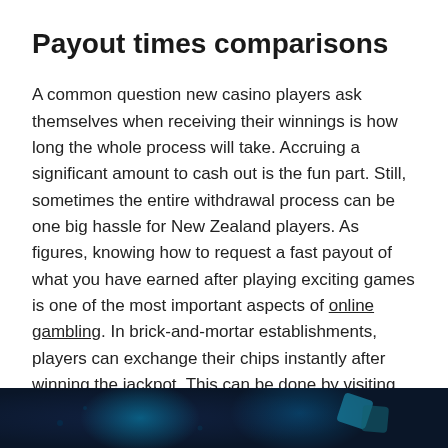Payout times comparisons
A common question new casino players ask themselves when receiving their winnings is how long the whole process will take. Accruing a significant amount to cash out is the fun part. Still, sometimes the entire withdrawal process can be one big hassle for New Zealand players. As figures, knowing how to request a fast payout of what you have earned after playing exciting games is one of the most important aspects of online gambling. In brick-and-mortar establishments, players can exchange their chips instantly after winning the jackpot. This can be done by visiting the Cashier's box and requesting their money. However, this is not the case with many online casinos since withdrawing funds can take up to a few days.
[Figure (photo): Dark blue-tinted image showing casino-related elements with glowing teal/cyan accents]